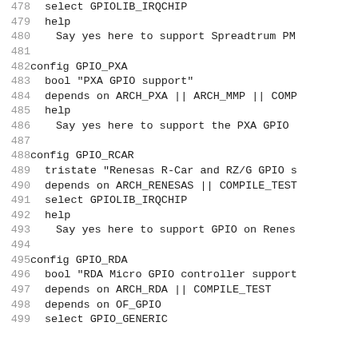Source code / Kconfig file lines 478-499
478: select GPIOLIB_IRQCHIP
479:     help
480:         Say yes here to support Spreadtrum PM
481: (blank)
482: config GPIO_PXA
483:         bool "PXA GPIO support"
484:         depends on ARCH_PXA || ARCH_MMP || COMP
485:         help
486:             Say yes here to support the PXA GPIO
487: (blank)
488: config GPIO_RCAR
489:         tristate "Renesas R-Car and RZ/G GPIO s
490:         depends on ARCH_RENESAS || COMPILE_TEST
491:         select GPIOLIB_IRQCHIP
492:         help
493:             Say yes here to support GPIO on Renes
494: (blank)
495: config GPIO_RDA
496:         bool "RDA Micro GPIO controller support
497:         depends on ARCH_RDA || COMPILE_TEST
498:         depends on OF_GPIO
499:         select GPIO_GENERIC